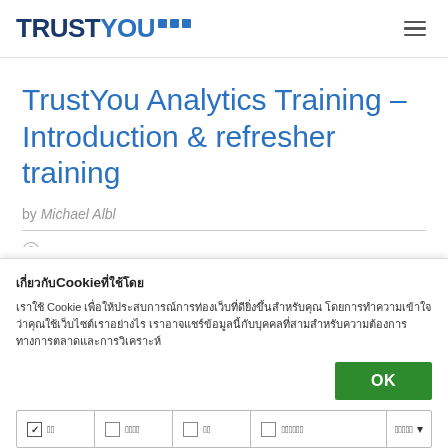TRUSTYOU
TrustYou Analytics Training – Introduction & refresher training
by Michael Albl
Cookie consent banner with Thai text options: OK button, checkboxes for categories (필수, 마케팅, 분석, 개인화), and dropdown for cookie management